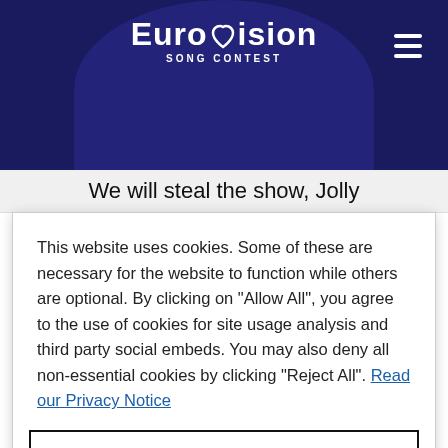[Figure (logo): Eurovision Song Contest logo with heart icon, white text on dark navy background with arch decoration]
We will steal the show, Jolly
This website uses cookies. Some of these are necessary for the website to function while others are optional. By clicking on "Allow All", you agree to the use of cookies for site usage analysis and third party social embeds. You may also deny all non-essential cookies by clicking "Reject All". Read our Privacy Notice
Cookie Preferences
Reject All
Allow All